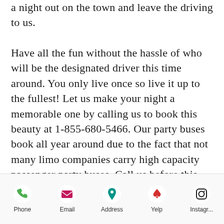a night out on the town and leave the driving to us. Have all the fun without the hassle of who will be the designated driver this time around. You only live once so live it up to the fullest! Let us make your night a memorable one by calling us to book this beauty at 1-855-680-5466. Our party buses book all year around due to the fact that not many limo companies carry high capacity passenger party buses. Call us before this one books on
Phone | Email | Address | Yelp | Instagr...